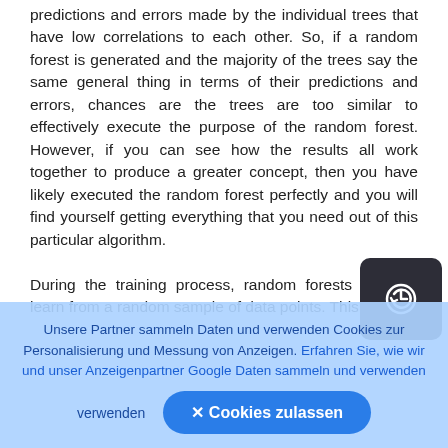predictions and errors made by the individual trees that have low correlations to each other. So, if a random forest is generated and the majority of the trees say the same general thing in terms of their predictions and errors, chances are the trees are too similar to effectively execute the purpose of the random forest. However, if you can see how the results all work together to produce a greater concept, then you have likely executed the random forest perfectly and you will find yourself getting everything that you need out of this particular algorithm.
During the training process, random forests need to learn from a random sample of data points. This
[Figure (other): Dark rounded square button with a circular arrow/navigation icon in white, overlaid on the text content.]
Unsere Partner sammeln Daten und verwenden Cookies zur Personalisierung und Messung von Anzeigen. Erfahren Sie, wie wir und unser Anzeigenpartner Google Daten sammeln und verwenden